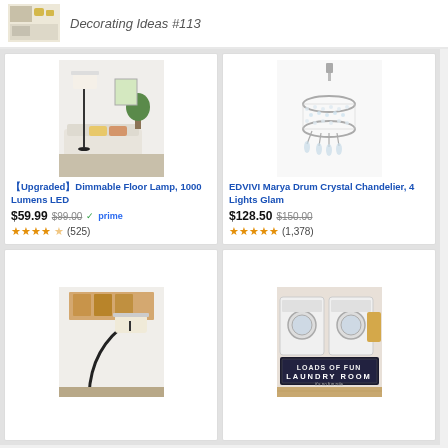[Figure (screenshot): Top banner showing decorating ideas thumbnail and text 'Decorating Ideas #113']
[Figure (photo): Product photo of a dimmable floor lamp in a living room setting]
【Upgraded】Dimmable Floor Lamp, 1000 Lumens LED
$59.99  $99.00  ✓prime  ★★★★★ (525)
[Figure (photo): Product photo of EDVIVI Marya Drum Crystal Chandelier]
EDVIVI Marya Drum Crystal Chandelier, 4 Lights Glam
$128.50  $150.00  ★★★★★ (1,378)
[Figure (photo): Product photo of a black arc floor lamp with drum shade]
[Figure (photo): Product photo of a Laundry Room mat/rug in front of washers]